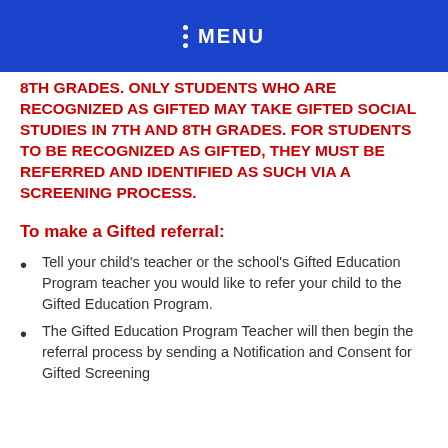MENU
8TH GRADES. ONLY STUDENTS WHO ARE RECOGNIZED AS GIFTED MAY TAKE GIFTED SOCIAL STUDIES IN 7TH AND 8TH GRADES. FOR STUDENTS TO BE RECOGNIZED AS GIFTED, THEY MUST BE REFERRED AND IDENTIFIED AS SUCH VIA A SCREENING PROCESS.
To make a Gifted referral:
Tell your child's teacher or the school's Gifted Education Program teacher you would like to refer your child to the Gifted Education Program.
The Gifted Education Program Teacher will then begin the referral process by sending a Notification and Consent for Gifted Screening